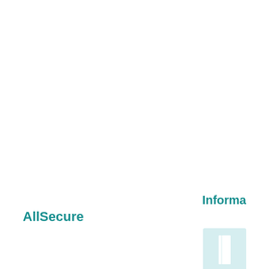AllSecure
Informa
[Figure (logo): Informa publisher logo: light blue square with a white rectangular book/column icon in the center]